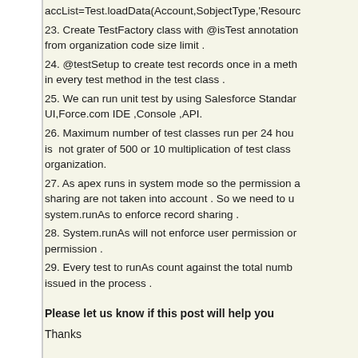accList=Test.loadData(Account,SobjectType,'Resource...
23. Create TestFactory class with @isTest annotation from organization code size limit .
24. @testSetup to create test records once in a method in every test method in the test class .
25. We can run unit test by using Salesforce Standard UI,Force.com IDE ,Console ,API.
26. Maximum number of test classes run per 24 hours is not grater of 500 or 10 multiplication of test classes organization.
27. As apex runs in system mode so the permission and sharing are not taken into account . So we need to use system.runAs to enforce record sharing .
28. System.runAs will not enforce user permission or permission .
29. Every test to runAs count against the total number issued in the process .
Please let us know if this post will help you
Thanks